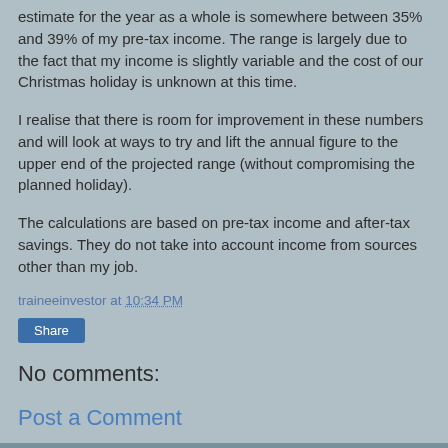estimate for the year as a whole is somewhere between 35% and 39% of my pre-tax income. The range is largely due to the fact that my income is slightly variable and the cost of our Christmas holiday is unknown at this time.
I realise that there is room for improvement in these numbers and will look at ways to try and lift the annual figure to the upper end of the projected range (without compromising the planned holiday).
The calculations are based on pre-tax income and after-tax savings. They do not take into account income from sources other than my job.
traineeinvestor at 10:34 PM
Share
No comments:
Post a Comment